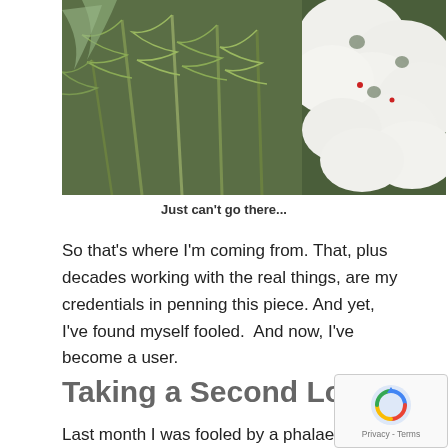[Figure (photo): Close-up photo of white orchid flowers and green conifer/fern foliage arranged together]
Just can't go there...
So that's where I'm coming from. That, plus decades working with the real things, are my credentials in penning this piece. And yet, I've found myself fooled.  And now, I've become a user.
Taking a Second Look
Last month I was fooled by a phalaenopsis orchid